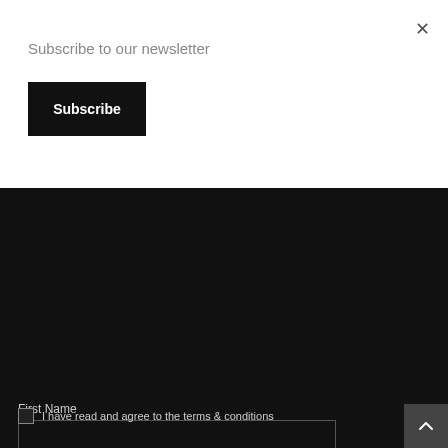Subscribe to our newsletter
Subscribe
First Name
Last Name
Email address
I have read and agree to the terms & conditions